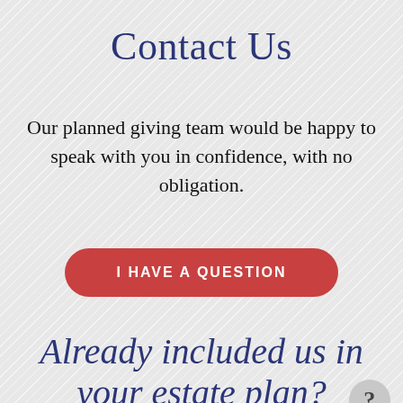Contact Us
Our planned giving team would be happy to speak with you in confidence, with no obligation.
I HAVE A QUESTION
Already included us in your estate plan?